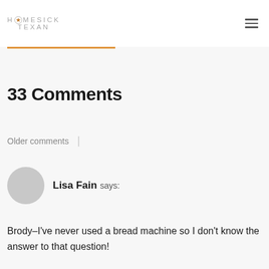HOMESICK TEXAN
33 Comments
Older comments
Lisa Fain says:
Brody–I've never used a bread machine so I don't know the answer to that question!